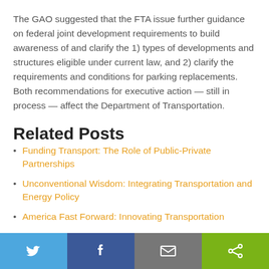The GAO suggested that the FTA issue further guidance on federal joint development requirements to build awareness of and clarify the 1) types of developments and structures eligible under current law, and 2) clarify the requirements and conditions for parking replacements. Both recommendations for executive action — still in process — affect the Department of Transportation.
Related Posts
Funding Transport: The Role of Public-Private Partnerships
Unconventional Wisdom: Integrating Transportation and Energy Policy
America Fast Forward: Innovating Transportation